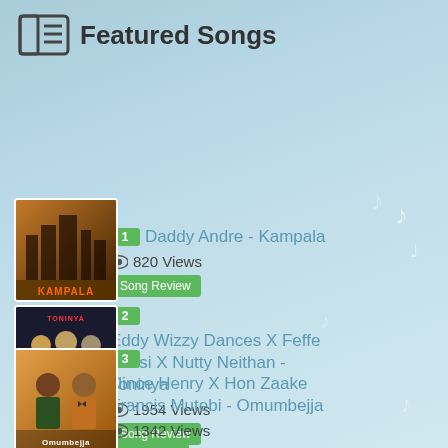Featured Songs
1 Daddy Andre - Kampala
820 Views
Song Review
2 Eddy Wizzy Dances X Feffe Bussi X Nutty Neithan - Toninya
1954 Views
Song Review
3 Nince Henry X Hon Zaake Francis Mutebi - Omumbejja
1342 Views
Celebgram